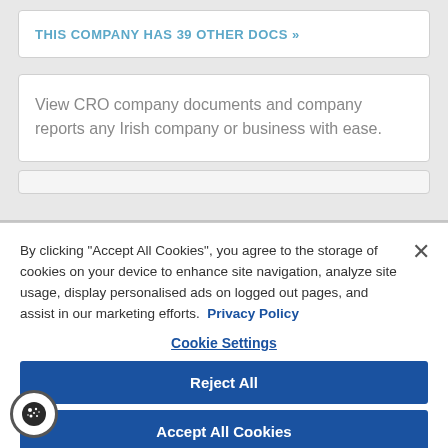THIS COMPANY HAS 39 OTHER DOCS »
View CRO company documents and company reports any Irish company or business with ease.
By clicking "Accept All Cookies", you agree to the storage of cookies on your device to enhance site navigation, analyze site usage, display personalised ads on logged out pages, and assist in our marketing efforts. Privacy Policy
Cookie Settings
Reject All
Accept All Cookies